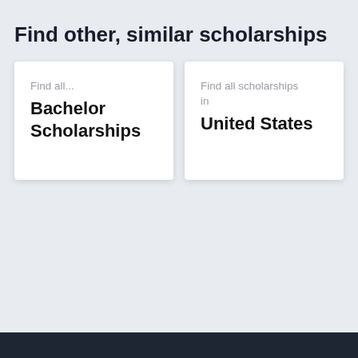Find other, similar scholarships
Find all...
Bachelor Scholarships
Find all scholarships in
United States